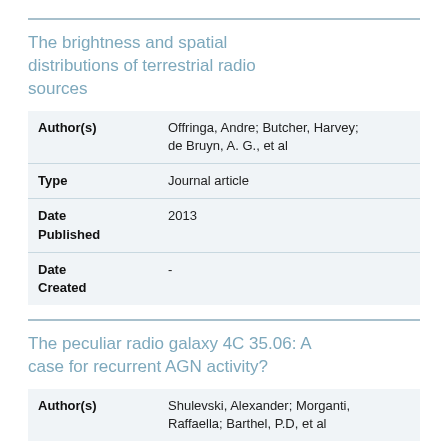The brightness and spatial distributions of terrestrial radio sources
| Field | Value |
| --- | --- |
| Author(s) | Offringa, Andre; Butcher, Harvey; de Bruyn, A. G., et al |
| Type | Journal article |
| Date Published | 2013 |
| Date Created | - |
The peculiar radio galaxy 4C 35.06: A case for recurrent AGN activity?
| Field | Value |
| --- | --- |
| Author(s) | Shulevski, Alexander; Morganti, Raffaella; Barthel, P.D, et al |